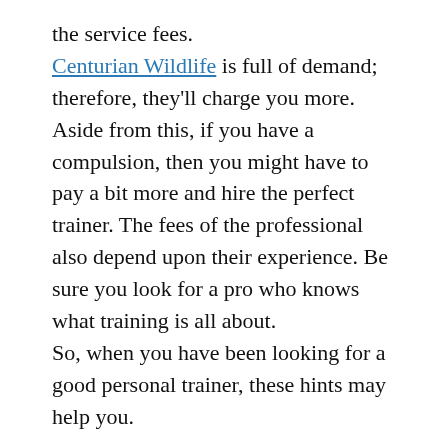the service fees. Centurian Wildlife is full of demand; therefore, they'll charge you more. Aside from this, if you have a compulsion, then you might have to pay a bit more and hire the perfect trainer. The fees of the professional also depend upon their experience. Be sure you look for a pro who knows what training is all about.
So, when you have been looking for a good personal trainer, these hints may help you.
April 10, 2018 / Leave a comment
Wildlife Proofing